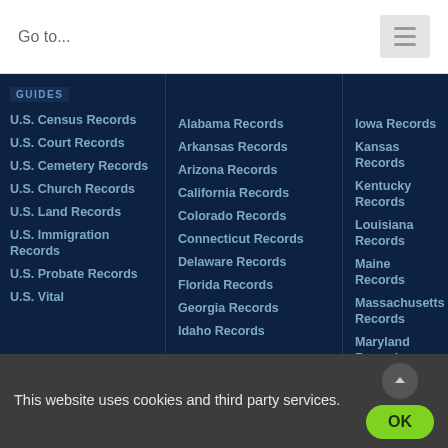Go to...
GUIDES
U.S. Census Records
U.S. Court Records
U.S. Cemetery Records
U.S. Church Records
U.S. Land Records
U.S. Immigration Records
U.S. Probate Records
U.S. Vital
Alabama Records
Arkansas Records
Arizona Records
California Records
Colorado Records
Connecticut Records
Delaware Records
Florida Records
Georgia Records
Idaho Records
Iowa Records
Kansas Records
Kentucky Records
Louisiana Records
Maine Records
Massachusetts Records
Maryland Records
Michigan Records
Minnesota Records
Mississippi
This website uses cookies and third party services.
OK